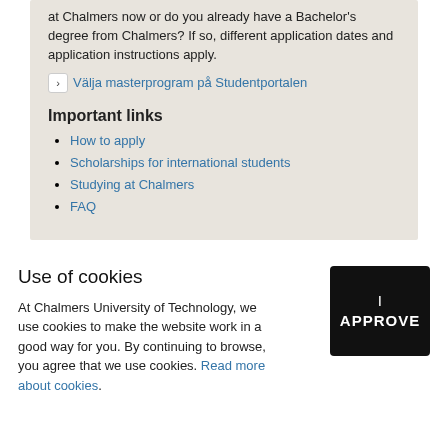at Chalmers now or do you already have a Bachelor's degree from Chalmers? If so, different application dates and application instructions apply.
Välja masterprogram på Studentportalen
Important links
How to apply
Scholarships for international students
Studying at Chalmers
FAQ
Use of cookies
At Chalmers University of Technology, we use cookies to make the website work in a good way for you. By continuing to browse, you agree that we use cookies. Read more about cookies.